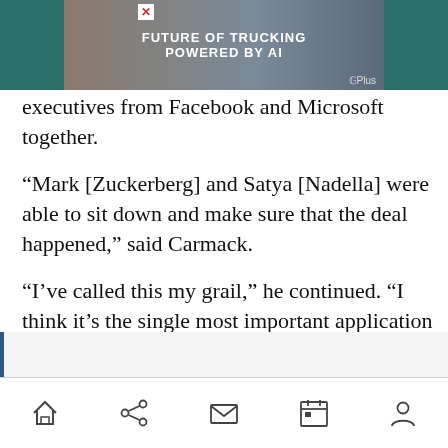[Figure (other): Advertisement banner: truck on desert road, text 'FUTURE OF TRUCKING POWERED BY AI', G+Plus logo]
executives from Facebook and Microsoft together.
“Mark [Zuckerberg] and Satya [Nadella] were able to sit down and make sure that the deal happened,” said Carmack.
“I’ve called this my grail,” he continued. “I think it’s the single most important application that we can have to ensure we have an army of fanatic, passionate supporters that will advocate why VR is great. It’s part of this infinite playability that our current ecosystem is missing.”
[navigation bar with home, share, mail, calendar, profile icons]